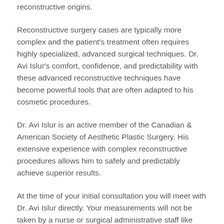reconstructive origins.
Reconstructive surgery cases are typically more complex and the patient's treatment often requires highly specialized, advanced surgical techniques. Dr. Avi Islur's comfort, confidence, and predictability with these advanced reconstructive techniques have become powerful tools that are often adapted to his cosmetic procedures.
Dr. Avi Islur is an active member of the Canadian & American Society of Aesthetic Plastic Surgery. His extensive experience with complex reconstructive procedures allows him to safely and predictably achieve superior results.
At the time of your initial consultation you will meet with Dr. Avi Islur directly. Your measurements will not be taken by a nurse or surgical administrative staff like most other cosmetic clinics in Canada. Dr. Avi Islur is very